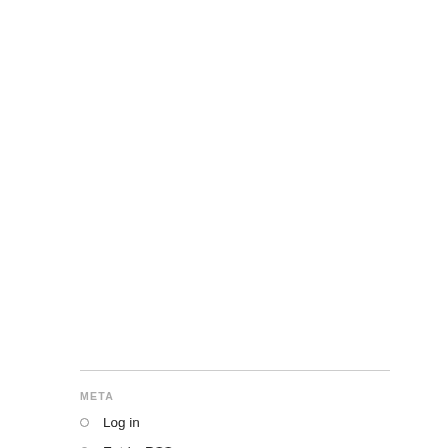[Figure (other): Advertisement for CareerTechnical Institute IT Support School with an OPEN button]
META
Log in
Entries RSS
Comments RSS